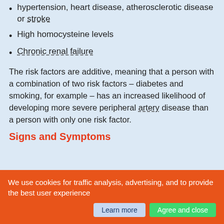Family history of peripheral vascular disease, hypertension, heart disease, atherosclerotic disease or stroke
High homocysteine levels
Chronic renal failure
The risk factors are additive, meaning that a person with a combination of two risk factors – diabetes and smoking, for example – has an increased likelihood of developing more severe peripheral artery disease than a person with only one risk factor.
Signs and Symptoms
[Figure (photo): Partial photo of legs/feet, cropped at top of frame, showing skin tones, likely illustrating peripheral artery disease symptoms]
We use cookies for traffic analysis, advertising, and to provide the best user experience